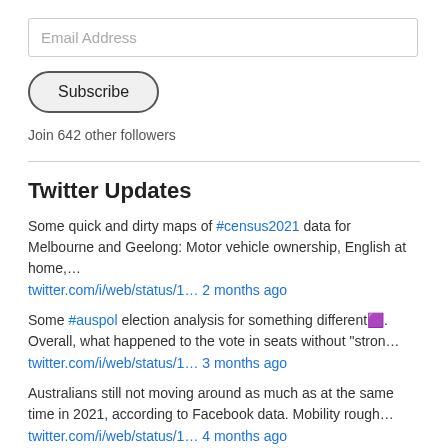Email Address
Subscribe
Join 642 other followers
Twitter Updates
Some quick and dirty maps of #census2021 data for Melbourne and Geelong: Motor vehicle ownership, English at home,…
twitter.com/i/web/status/1… 2 months ago
Some #auspol election analysis for something different🟪. Overall, what happened to the vote in seats without "stron…
twitter.com/i/web/status/1… 3 months ago
Australians still not moving around as much as at the same time in 2021, according to Facebook data. Mobility rough…
twitter.com/i/web/status/1… 4 months ago